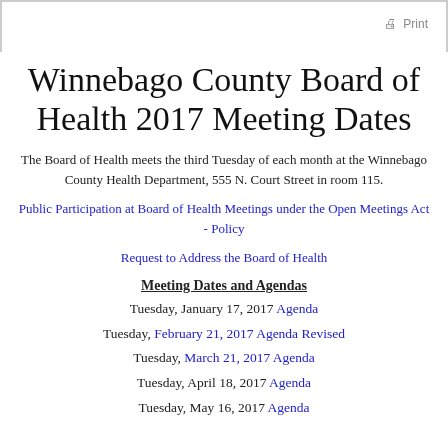Print
Winnebago County Board of Health 2017 Meeting Dates
The Board of Health meets the third Tuesday of each month at the Winnebago County Health Department, 555 N. Court Street in room 115.
Public Participation at Board of Health Meetings under the Open Meetings Act - Policy
Request to Address the Board of Health
Meeting Dates and Agendas
Tuesday, January 17, 2017 Agenda
Tuesday, February 21, 2017 Agenda Revised
Tuesday, March 21, 2017 Agenda
Tuesday, April 18, 2017 Agenda
Tuesday, May 16, 2017 Agenda